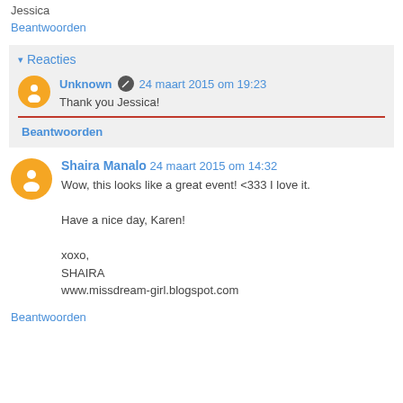Jessica
Beantwoorden
▾ Reacties
Unknown 24 maart 2015 om 19:23
Thank you Jessica!
Beantwoorden
Shaira Manalo 24 maart 2015 om 14:32
Wow, this looks like a great event! <333 I love it.

Have a nice day, Karen!

xoxo,
SHAIRA
www.missdream-girl.blogspot.com
Beantwoorden